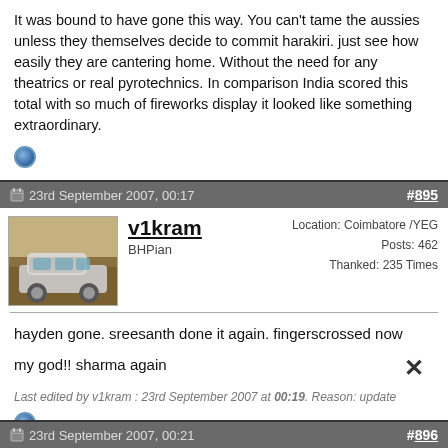It was bound to have gone this way. You can't tame the aussies unless they themselves decide to commit harakiri. just see how easily they are cantering home. Without the need for any theatrics or real pyrotechnics. In comparison India scored this total with so much of fireworks display it looked like something extraordinary.
23rd September 2007, 00:17   #895
v1kram
BHPian
Location: Coimbatore /YEG
Posts: 462
Thanked: 235 Times
hayden gone. sreesanth done it again. fingerscrossed now

my god!! sharma again
Last edited by v1kram : 23rd September 2007 at 00:19. Reason: update
23rd September 2007, 00:21   #896